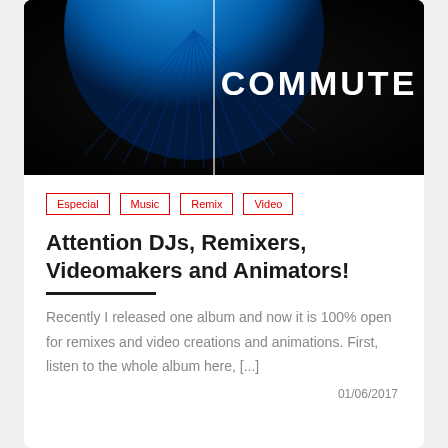[Figure (photo): Hero image with dark background showing a blue radial/circular object and the word COMMUTE in bold white text]
Especial
Music
Remix
Video
Attention DJs, Remixers, Videomakers and Animators!
Recently I released one album and now it is 100% open for remixes and video creations and animations. First, listen to the whole album here, [...]
01/06/2017